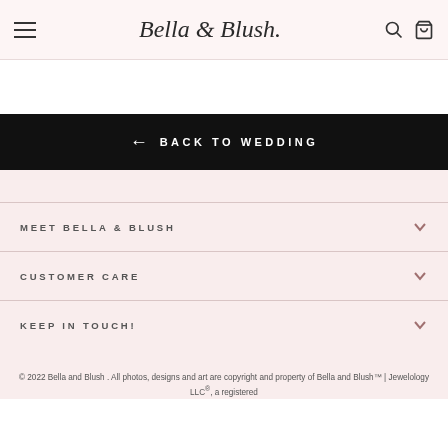Bella & Blush
← BACK TO WEDDING
MEET BELLA & BLUSH
CUSTOMER CARE
KEEP IN TOUCH!
© 2022 Bella and Blush . All photos, designs and art are copyright and property of Bella and Blush™ | Jewelology LLC®, a registered